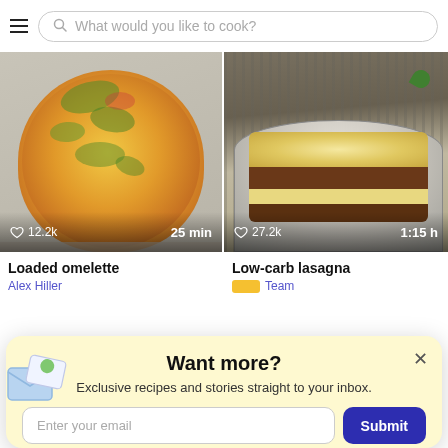What would you like to cook?
[Figure (photo): Loaded omelette in a white bowl, viewed from above, topped with green herbs and vegetables]
♡ 12.2k    25 min
Loaded omelette
Alex Hiller
[Figure (photo): Low-carb lasagna on a plate with striped background, topped with melted cheese and basil]
♡ 27.2k    1:15 h
Low-carb lasagna
Team
Want more?
Exclusive recipes and stories straight to your inbox.
Enter your email
Submit